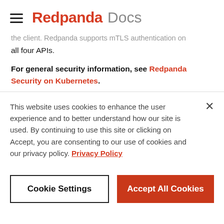Redpanda Docs
the client. Redpanda supports mTLS authentication on all four APIs.
For general security information, see Redpanda Security on Kubernetes.
This website uses cookies to enhance the user experience and to better understand how our site is used. By continuing to use this site or clicking on Accept, you are consenting to our use of cookies and our privacy policy. Privacy Policy
Cookie Settings
Accept All Cookies